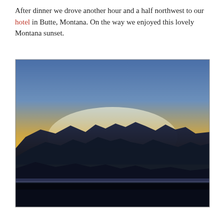After dinner we drove another hour and a half northwest to our hotel in Butte, Montana. On the way we enjoyed this lovely Montana sunset.
[Figure (photo): A Montana sunset photograph taken from a moving car. The sky transitions from deep blue at the top through orange and yellow near the horizon. Silhouetted mountain ranges and hills fill the lower half of the image. A highway guardrail is visible at the bottom. A phone screenshot with AT&T 4G status bar and browser search bar is partially visible below the photo.]